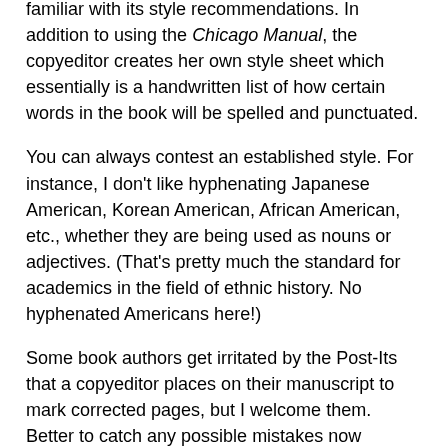familiar with its style recommendations. In addition to using the Chicago Manual, the copyeditor creates her own style sheet which essentially is a handwritten list of how certain words in the book will be spelled and punctuated.
You can always contest an established style. For instance, I don't like hyphenating Japanese American, Korean American, African American, etc., whether they are being used as nouns or adjectives. (That's pretty much the standard for academics in the field of ethnic history. No hyphenated Americans here!)
Some book authors get irritated by the Post-Its that a copyeditor places on their manuscript to mark corrected pages, but I welcome them. Better to catch any possible mistakes now instead of later. If you don't agree with a change, you just write STET, which is Latin for "to stand," and the judge, you the author, have ruled. No change. Case closed. The freelance copyeditor my publisher hired caught some important time-related continuity problems. And I'm eternally grateful to the...